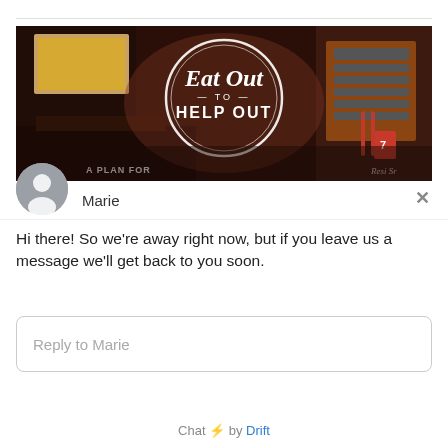[Figure (photo): Eat Out to Help Out promotional banner image showing a restaurant interior with a circular logo overlay reading 'Eat Out — TO — HELP OUT' in white script/serif text. Bottom left shows 'A PLAN FOR' text partially visible.]
[Figure (illustration): Grey circular avatar icon with person silhouette]
Marie
×
Hi there! So we're away right now, but if you leave us a message we'll get back to you soon.
Reply to Marie
Chat ⚡ by Drift